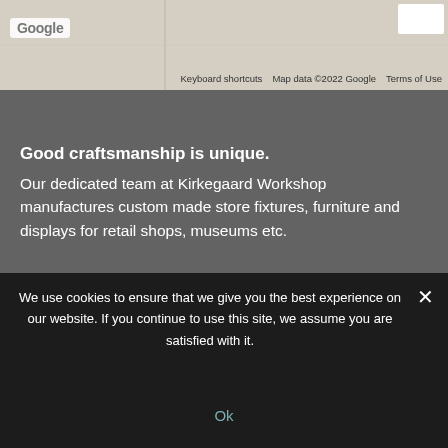[Figure (map): Google Maps screenshot showing a beige/tan map background with a vertical line and Google logo in top left. Map attribution bar shows 'Keyboard shortcuts', 'Map data ©2022 Google', 'Terms of Use'.]
Keyboard shortcuts   Map data ©2022 Google   Terms of Use
Good craftsmanship is unique.
Our dedicated team at Kirkegaard Workshop manufactures custom made store fixtures, furniture and displays for retail shops, museums etc.
About us
Ideology
Quality
Case overview
Contact
We use cookies to ensure that we give you the best experience on our website. If you continue to use this site, we assume you are satisfied with it.
Ok